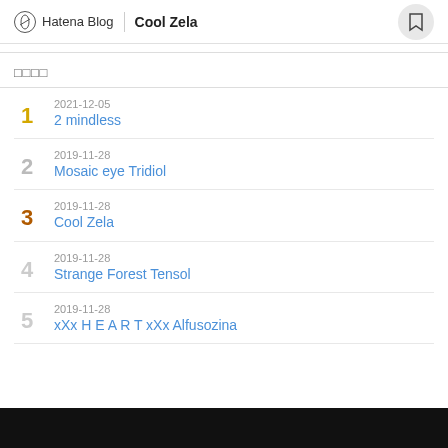Hatena Blog | Cool Zela
□□□□
1 | 2021-12-05 | 2 mindless
2 | 2019-11-28 | Mosaic eye Tridiol
3 | 2019-11-28 | Cool Zela
4 | 2019-11-28 | Strange Forest Tensol
5 | 2019-11-28 | xXx H E A R T xXx Alfusozina